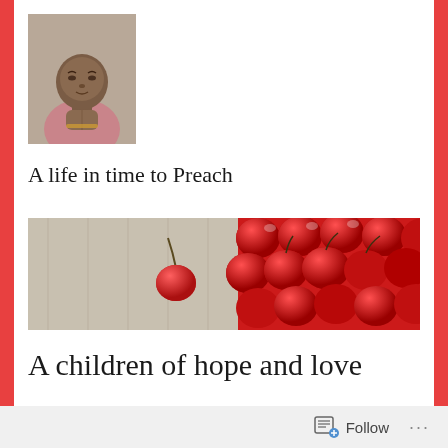[Figure (photo): A man in a pink shirt with hands clasped together in prayer position, looking upward]
A life in time to Preach
[Figure (photo): Close-up of red cherries, some in a white cloth/bag on the left and a pile of cherries on the right]
A children of hope and love
[Figure (photo): Interior of what appears to be a room or classroom with chairs/desks, partially visible at bottom]
Follow ...